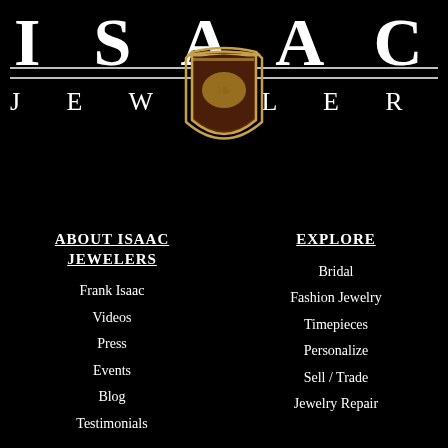[Figure (logo): Isaac Jewelers logo with large white serif letters I S A A C on top row, J E W E L E R S on bottom row with horizontal lines, and a golden/brown heraldic shield crest in the center, all on black background]
ABOUT ISAAC JEWELERS
Frank Isaac
Videos
Press
Events
Blog
Testimonials
EXPLORE
Bridal
Fashion Jewelry
Timepieces
Personalize
Sell / Trade
Jewelry Repair